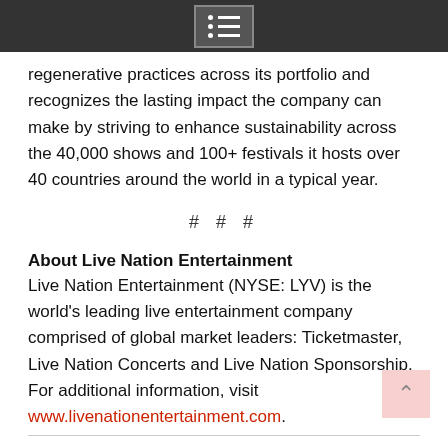navigation menu icon
regenerative practices across its portfolio and recognizes the lasting impact the company can make by striving to enhance sustainability across the 40,000 shows and 100+ festivals it hosts over 40 countries around the world in a typical year.
# # #
About Live Nation Entertainment
Live Nation Entertainment (NYSE: LYV) is the world's leading live entertainment company comprised of global market leaders: Ticketmaster, Live Nation Concerts and Live Nation Sponsorship. For additional information, visit www.livenationentertainment.com.
Press release courtesy of Live Nation